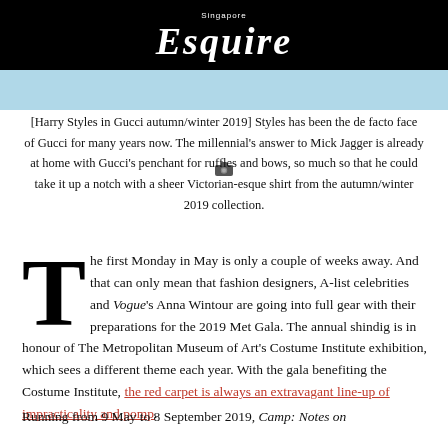Singapore Esquire
[Figure (photo): Light blue image strip with a small camera icon at the bottom center]
[Harry Styles in Gucci autumn/winter 2019] Styles has been the de facto face of Gucci for many years now. The millennial's answer to Mick Jagger is already at home with Gucci's penchant for ruffles and bows, so much so that he could take it up a notch with a sheer Victorian-esque shirt from the autumn/winter 2019 collection.
The first Monday in May is only a couple of weeks away. And that can only mean that fashion designers, A-list celebrities and Vogue's Anna Wintour are going into full gear with their preparations for the 2019 Met Gala. The annual shindig is in honour of The Metropolitan Museum of Art's Costume Institute exhibition, which sees a different theme each year. With the gala benefiting the Costume Institute, the red carpet is always an extravagant line-up of impracticality and pomp.
Running from 9 May to 8 September 2019, Camp: Notes on